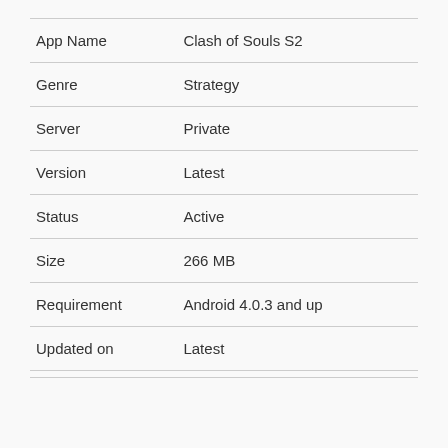|  |  |
| --- | --- |
| App Name | Clash of Souls S2 |
| Genre | Strategy |
| Server | Private |
| Version | Latest |
| Status | Active |
| Size | 266 MB |
| Requirement | Android 4.0.3 and up |
| Updated on | Latest |